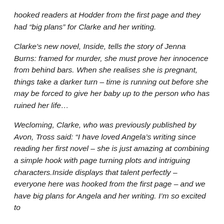hooked readers at Hodder from the first page and they had “big plans” for Clarke and her writing.
Clarke’s new novel, Inside, tells the story of Jenna Burns: framed for murder, she must prove her innocence from behind bars. When she realises she is pregnant, things take a darker turn – time is running out before she may be forced to give her baby up to the person who has ruined her life…
Wecloming, Clarke, who was previously published by Avon, Tross said: “I have loved Angela’s writing since reading her first novel – she is just amazing at combining a simple hook with page turning plots and intriguing characters.Inside displays that talent perfectly – everyone here was hooked from the first page – and we have big plans for Angela and her writing. I’m so excited to